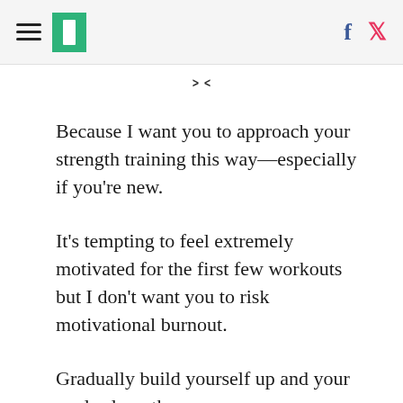HuffPost navigation and social icons
Because I want you to approach your strength training this way—especially if you're new.
It's tempting to feel extremely motivated for the first few workouts but I don't want you to risk motivational burnout.
Gradually build yourself up and your goals along the process.
If you're new, not as confident, or coming off a long layoff with lifting weights—make your daily mission